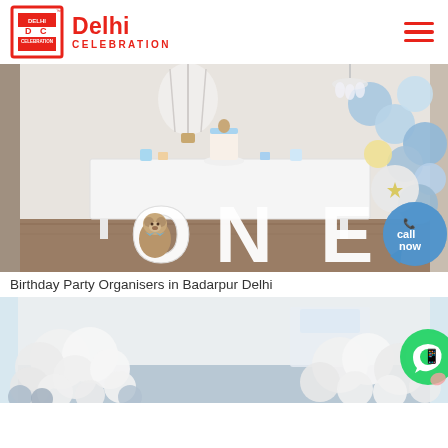Delhi Celebration
[Figure (photo): Birthday party setup with large white letters spelling ONE, teddy bear, balloon garland in blue and white, dessert table with cake and decorations, call now badge]
Birthday Party Organisers in Badarpur Delhi
[Figure (photo): White balloon decorations and arrangement, partial view of another birthday party setup with balloon clouds]